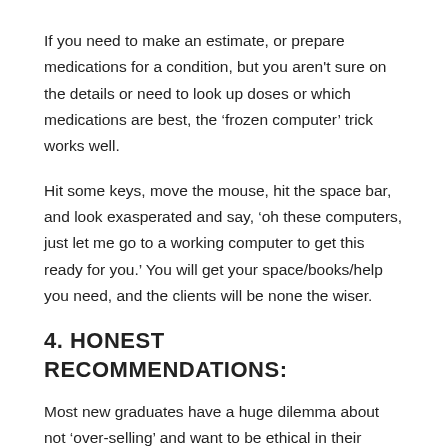If you need to make an estimate, or prepare medications for a condition, but you aren't sure on the details or need to look up doses or which medications are best, the 'frozen computer' trick works well.
Hit some keys, move the mouse, hit the space bar, and look exasperated and say, 'oh these computers, just let me go to a working computer to get this ready for you.' You will get your space/books/help you need, and the clients will be none the wiser.
4. HONEST RECOMMENDATIONS:
Most new graduates have a huge dilemma about not 'over-selling' and want to be ethical in their practice. This